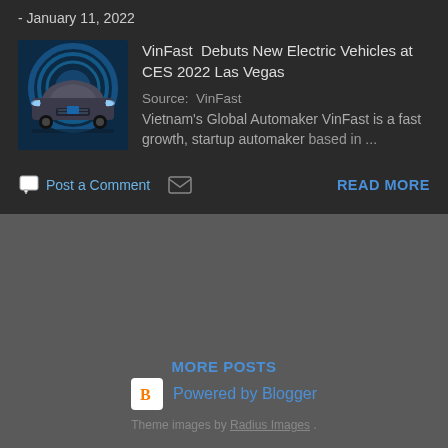- January 11, 2022
[Figure (photo): VinFast electric vehicle front view with futuristic blue tunnel background]
VinFast Debuts New Electric Vehicles at CES 2022 Las Vegas
Source: VinFast Vietnam's Global Automaker VinFast is a fast growth, startup automaker based in ...
Post a Comment
READ MORE
MORE POSTS
Powered by Blogger
Theme images by Radius Images .